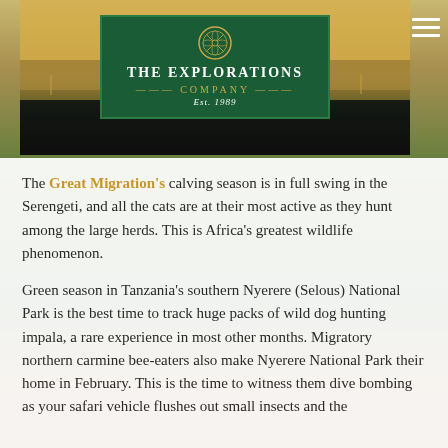[Figure (logo): The Explorations Company logo — dark green rectangle with decorative snowflake/medallion icon, company name in white serif text, Est. 1989, overlaid on a scenic savanna landscape banner]
The Great Migration's calving season is in full swing in the Serengeti, and all the cats are at their most active as they hunt among the large herds. This is Africa's greatest wildlife phenomenon.
Green season in Tanzania's southern Nyerere (Selous) National Park is the best time to track huge packs of wild dog hunting impala, a rare experience in most other months. Migratory northern carmine bee-eaters also make Nyerere National Park their home in February. This is the time to witness them dive bombing as your safari vehicle flushes out small insects and the...